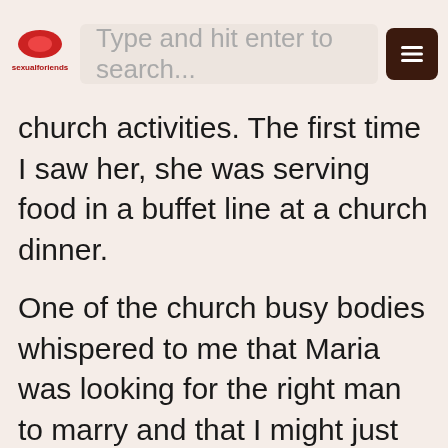Type and hit enter to search...
church activities. The first time I saw her, she was serving food in a buffet line at a church dinner.
One of the church busy bodies whispered to me that Maria was looking for the right man to marry and that I might just be the one. I assured her that my success rate with